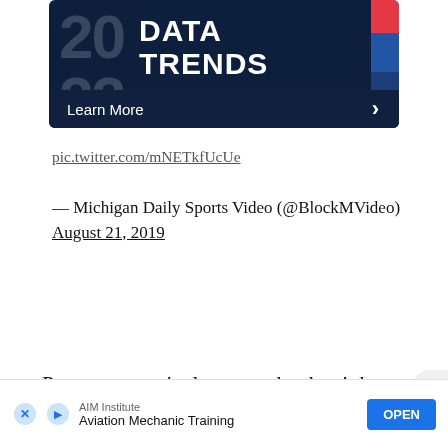[Figure (screenshot): Dark blue banner showing '2022 DATA TRENDS' with colored rectangles on the right and 'Learn More >' bar at the bottom]
pic.twitter.com/mNETkfUcUe
— Michigan Daily Sports Video (@BlockMVideo) August 21, 2019
Patterson won't always make the right
[Figure (screenshot): Advertisement banner for AIM Institute Aviation Mechanic Training with OPEN button]